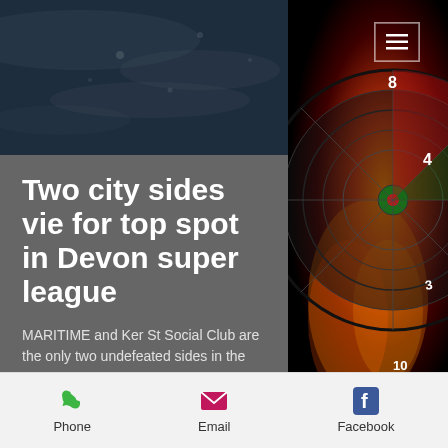[Figure (screenshot): Dark navy banner background with water/bokeh texture at top of page]
[Figure (illustration): Dartboard on fire graphic on right side of page]
Two city sides vie for top spot in Devon super league
MARITIME and Ker St Social Club are the only two undefeated sides in the premier division of the Devon Super League with just a single point separating the leading duo after three matches.
Tabletoppers Maritime won 6-3 away at
Phone  Email  Facebook